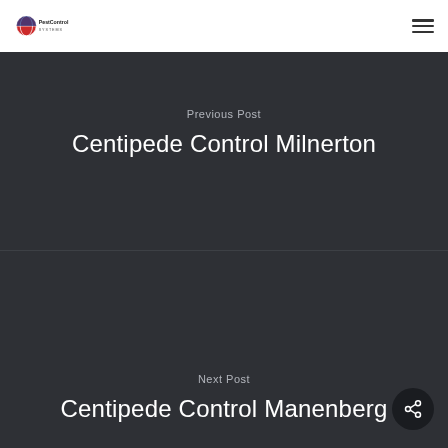PestControl
Previous Post
Centipede Control Milnerton
Next Post
Centipede Control Manenberg